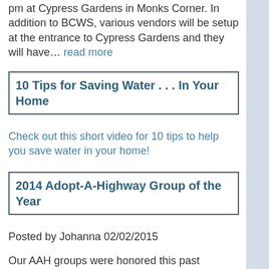pm at Cypress Gardens in Monks Corner. In addition to BCWS, various vendors will be setup at the entrance to Cypress Gardens and they will have… read more
10 Tips for Saving Water . . . In Your Home
Check out this short video for 10 tips to help you save water in your home!
2014 Adopt-A-Highway Group of the Year
Posted by Johanna 02/02/2015
Our AAH groups were honored this past Saturday during the annual Adopt-A-Highway Banquet at Cypress Gardens. This year A...